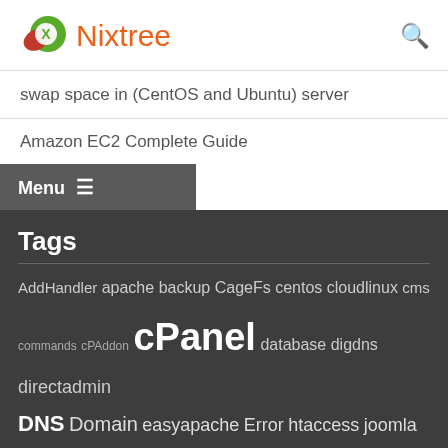Nixtree
swap space in (CentOS and Ubuntu) server
Amazon EC2 Complete Guide
Menu ≡
Tags
AddHandler apache backup CageFs centos cloudlinux cms commands cPAddon cPanel database digdns directadmin DNS Domain easyapache Error htaccess joomla linux logins mail migration multiphp MySQL nginx notifications ntdnscheck ntphp ntPHPselector ntv ntVersionCheck performance PHP phpmyadmin